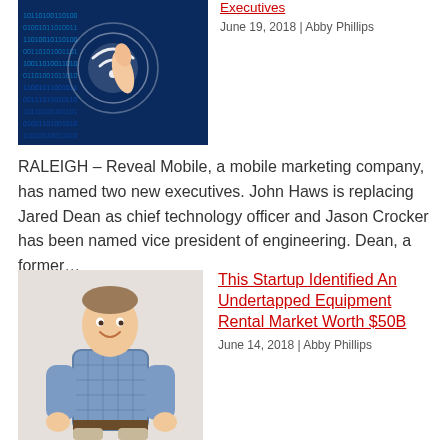[Figure (photo): Hand touching a glowing digital tablet screen with binary code and WiFi symbol in blue tones]
Executives
June 19, 2018 | Abby Phillips
RALEIGH – Reveal Mobile, a mobile marketing company, has named two new executives. John Haws is replacing Jared Dean as chief technology officer and Jason Crocker has been named vice president of engineering. Dean, a former...
[Figure (photo): Man in blue checkered shirt smiling, standing against a light background]
This Startup Identified An Undertapped Equipment Rental Market Worth $50B
June 14, 2018 | Abby Phillips